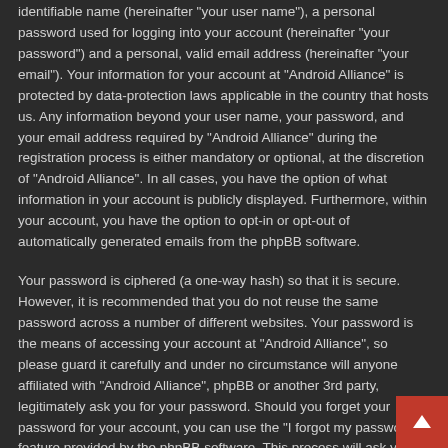identifiable name (hereinafter "your user name"), a personal password used for logging into your account (hereinafter "your password") and a personal, valid email address (hereinafter "your email"). Your information for your account at "Android Alliance" is protected by data-protection laws applicable in the country that hosts us. Any information beyond your user name, your password, and your email address required by "Android Alliance" during the registration process is either mandatory or optional, at the discretion of "Android Alliance". In all cases, you have the option of what information in your account is publicly displayed. Furthermore, within your account, you have the option to opt-in or opt-out of automatically generated emails from the phpBB software.
Your password is ciphered (a one-way hash) so that it is secure. However, it is recommended that you do not reuse the same password across a number of different websites. Your password is the means of accessing your account at "Android Alliance", so please guard it carefully and under no circumstance will anyone affiliated with "Android Alliance", phpBB or another 3rd party, legitimately ask you for your password. Should you forget your password for your account, you can use the "I forgot my password" feature provided by the phpBB software. This process will ask you to submit your user name and your email, then the phpBB software will generate a new password to reclaim your account.